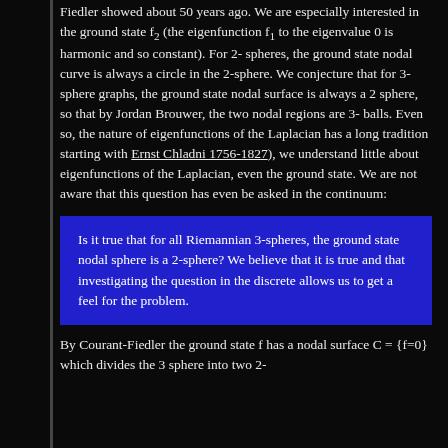Fiedler showed about 50 years ago. We are especially interested in the ground state f₂ (the eigenfunction f₁ to the eigenvalue 0 is harmonic and so constant). For 2-spheres, the ground state nodal curve is always a circle in the 2-sphere. We conjecture that for 3-sphere graphs, the ground state nodal surface is always a 2 sphere, so that by Jordan Brouwer, the two nodal regions are 3-balls. Even so, the nature of eigenfunctions of the Laplacian has a long tradition starting with Ernst Chladni 1756-1827), we understand little about eigenfunctions of the Laplacian, even the ground state. We are not aware that this question has even be asked in the continuum:
Is it true that for all Riemannian 3-spheres, the ground state nodal sphere is a 2-sphere? We believe that it is true and that investigating the question in the discrete allows us to get a feel for the problem.
By Courant-Fiedler the ground state f has a nodal surface C = {f=0} which divides the 3 sphere into two 2-